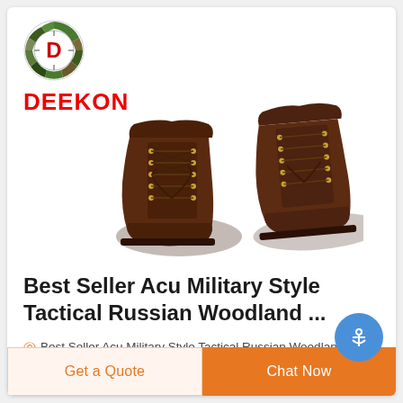[Figure (logo): Deekon brand logo: circular camouflage-patterned ring with red D in center, and red bold DEEKON text below]
[Figure (photo): A pair of dark brown leather lace-up military tactical boots with gold eyelets, viewed from above at an angle]
Best Seller Acu Military Style Tactical Russian Woodland ...
Best Seller Acu Military Style Tactical Russian Woodland Camouflage Uniform Security Dress, Find...